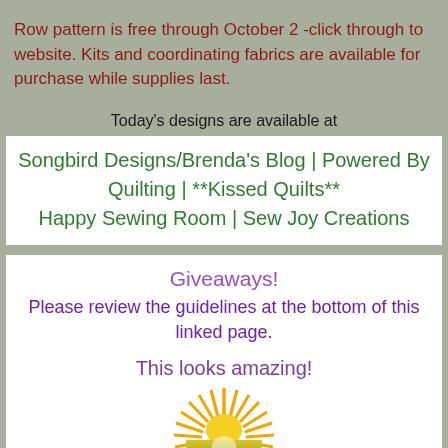Row pattern is free through October 2 -click through to website. Kits and coordinating fabrics are available for purchase while supplies last.
Today's designs are available at
Songbird Designs/Brenda's Blog | Powered By Quilting | **Kissed Quilts** Happy Sewing Room | Sew Joy Creations
Giveaways! Please review the guidelines at the bottom of this linked page.
This looks amazing!
[Figure (logo): Colorful sunburst logo with radiating rays in yellow/gold above a shield shape with rainbow gradient colors]